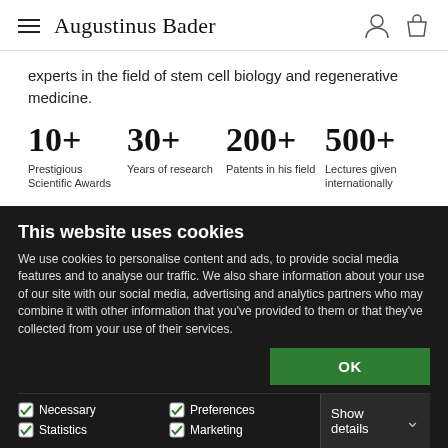Augustinus Bader
experts in the field of stem cell biology and regenerative medicine.
10+ Prestigious Scientific Awards  30+ Years of research  200+ Patents in his field  500+ Lectures given internationally
This website uses cookies
We use cookies to personalise content and ads, to provide social media features and to analyse our traffic. We also share information about your use of our site with our social media, advertising and analytics partners who may combine it with other information that you've provided to them or that they've collected from your use of their services.
OK
Necessary  Preferences  Statistics  Marketing  Show details